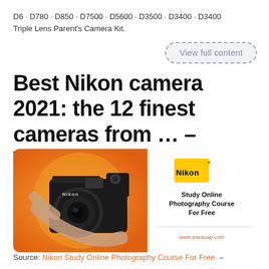D6 · D780 · D850 · D7500 · D5600 · D3500 · D3400 · D3400
Triple Lens Parent's Camera Kit.
View full content
Best Nikon camera 2021: the 12 finest cameras from … – TechRa
[Figure (photo): Composite image: left half shows a person holding a Nikon DSLR camera with lens, on an orange/circular background. Right half shows a white panel with Nikon yellow logo, bold text 'Study Online Photography Course For Free' and URL 'www.aseaoap.com']
Source: Nikon Study Online Photography Course For Free. –